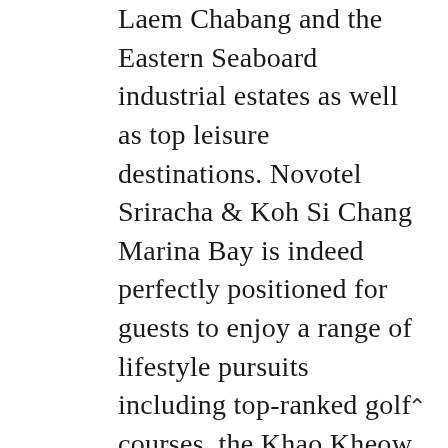Laem Chabang and the Eastern Seaboard industrial estates as well as top leisure destinations. Novotel Sriracha & Koh Si Chang Marina Bay is indeed perfectly positioned for guests to enjoy a range of lifestyle pursuits including top-ranked golf courses, the Khao Kheow Zoo and offshore islands such as Koh Loy and Koh Si Chang.